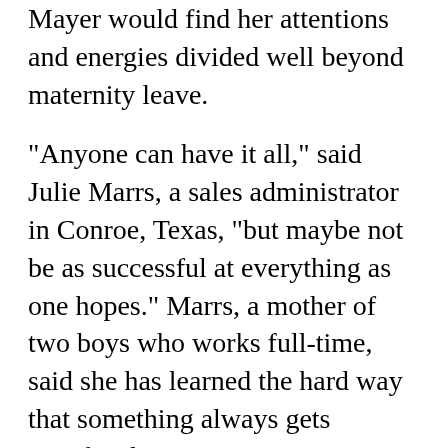Mayer would find her attentions and energies divided well beyond maternity leave.
"Anyone can have it all," said Julie Marrs, a sales administrator in Conroe, Texas, "but maybe not be as successful at everything as one hopes." Marrs, a mother of two boys who works full-time, said she has learned the hard way that something always gets sacrificed.
"There are times that I am so mentally drained when I get home from work that I definitely do not spend the time I should with my kids," she said in an email message. "Whether it be working on homework, reading books, playing a game or simply talking about their day. I try my best, but realize that to `have it all,' something will be sacrificed. It could be